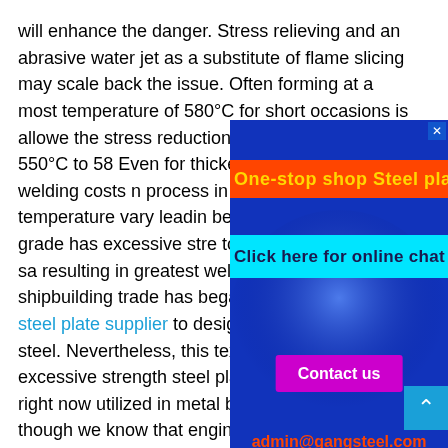will enhance the danger. Stress relieving and an abrasive water jet as a substitute of flame slicing may scale back the issue. Often forming at a most temperature of 580°C for short occasions is allowed. the stress reduction annealing temperature is in the range • 550°C to 580°C Even for thicker plates of and thus welding costs m process in which final de temperature vary leadin be achieved by warmth t grade has excessive stre toughness and on the sa resulting in greatest weldability. Even the shipbuilding trade has began EN10025-6 S620Q steel plate supplier to design with high power steel. Nevertheless, this text focuses on the excessive strength steel plate grades which are right now utilized in metal building in Europe though we know that engineers on this field can revenue a lot from the good
[Figure (other): Advertisement overlay with blue radial background. Contains: red banner with gold text 'One-stop shop Steel plate', cyan banner with dark text 'Click here for online chat', purple 'Contact us' button, and red email 'admin@gangsteel.com'. Close button (x) in top right corner.]